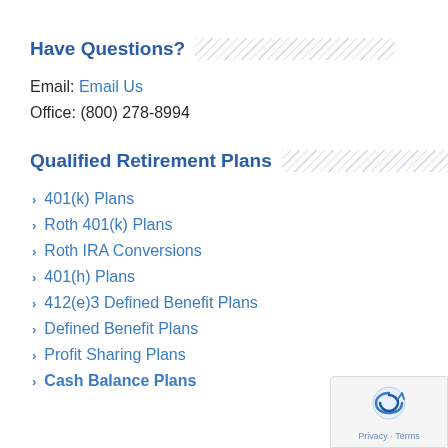Have Questions?
Email: Email Us
Office: (800) 278-8994
Qualified Retirement Plans
401(k) Plans
Roth 401(k) Plans
Roth IRA Conversions
401(h) Plans
412(e)3 Defined Benefit Plans
Defined Benefit Plans
Profit Sharing Plans
Cash Balance Plans